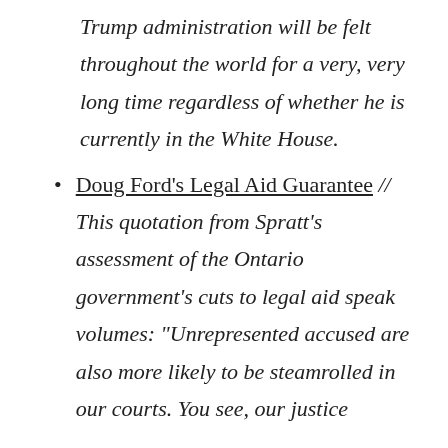Trump administration will be felt throughout the world for a very, very long time regardless of whether he is currently in the White House.
Doug Ford's Legal Aid Guarantee // This quotation from Spratt's assessment of the Ontario government's cuts to legal aid speak volumes: “Unrepresented accused are also more likely to be steamrolled in our courts. You see, our justice